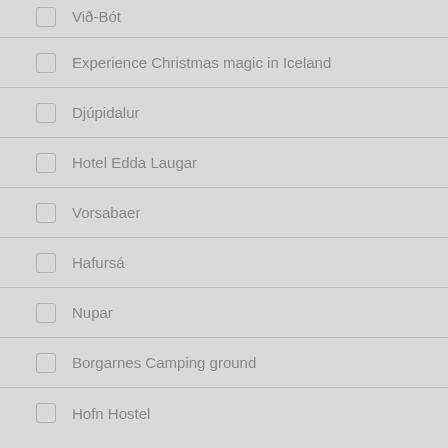Við-Bót
Experience Christmas magic in Iceland
Djúpidalur
Hotel Edda Laugar
Vorsabaer
Hafursá
Nupar
Borgarnes Camping ground
Hofn Hostel